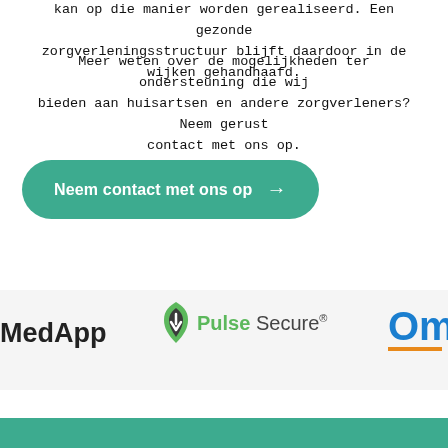kan op die manier worden gerealiseerd. Een gezonde zorgverleningsstructuur blijft daardoor in de wijken gehandhaafd.
Meer weten over de mogelijkheden ter ondersteuning die wij bieden aan huisartsen en andere zorgverleners? Neem gerust contact met ons op.
[Figure (other): Teal rounded button with white text 'Neem contact met ons op' and a right arrow]
[Figure (logo): MedApp logo in bold dark text]
[Figure (logo): Pulse Secure logo with green shield icon and text]
[Figure (logo): Partially visible Om... logo in blue with orange underline]